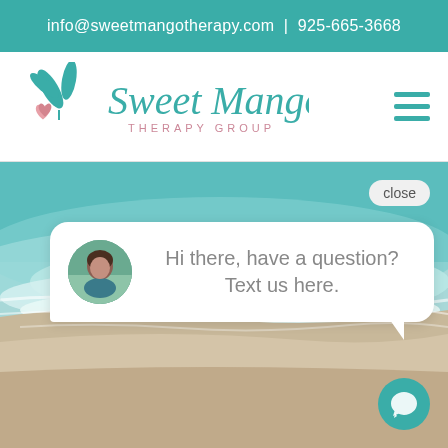info@sweetmangotherapy.com | 925-665-3668
[Figure (logo): Sweet Mango Therapy Group logo with teal mango leaf and pink heart graphic, with cursive 'Sweet Mango' text and 'THERAPY GROUP' subtitle in teal]
[Figure (photo): Aerial view of a tropical beach with turquoise waves meeting sandy shore, used as hero background image]
close
Hi there, have a question? Text us here.